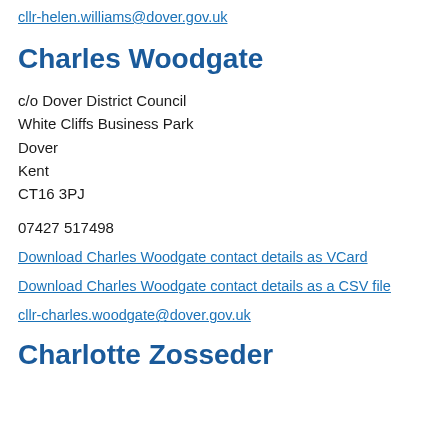cllr-helen.williams@dover.gov.uk
Charles Woodgate
c/o Dover District Council
White Cliffs Business Park
Dover
Kent
CT16 3PJ
07427 517498
Download Charles Woodgate contact details as VCard
Download Charles Woodgate contact details as a CSV file
cllr-charles.woodgate@dover.gov.uk
Charlotte Zosseder